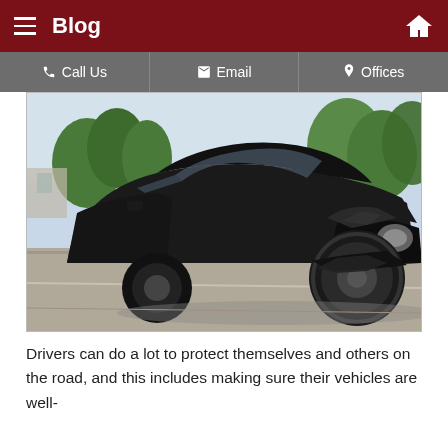Blog
[Figure (photo): A black sedan with severe front-end collision damage parked on a road, with crumpled hood, destroyed front bumper and headlight area, and exposed front wheel. Trees and buildings visible in background.]
Drivers can do a lot to protect themselves and others on the road, and this includes making sure their vehicles are well-